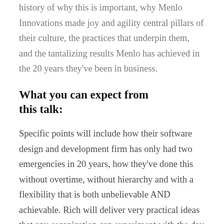history of why this is important, why Menlo Innovations made joy and agility central pillars of their culture, the practices that underpin them, and the tantalizing results Menlo has achieved in the 20 years they've been in business.
What you can expect from this talk:
Specific points will include how their software design and development firm has only had two emergencies in 20 years, how they've done this without overtime, without hierarchy and with a flexibility that is both unbelievable AND achievable. Rich will deliver very practical ideas that any organization can experiment with the day after the talk. He will also share stories of how other companies have taken these same ideas and achieved joy and